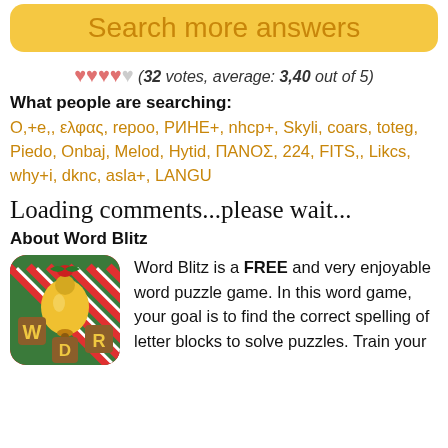Search more answers
❤❤❤❤♡ (32 votes, average: 3,40 out of 5)
What people are searching:
O,+e,, ελφας, repoo, РИΗΕ+, nhcp+, Skyli, coars, toteg, Piedo, Onbaj, Melod, Hytid, ΠΑΝΟΣ, 224, FITS,, Likcs, why+i, dknc, asla+, LANGU
Loading comments...please wait...
About Word Blitz
[Figure (illustration): Word Blitz app icon with holiday theme: golden bells, holly, red and white candy cane border, letters W, R, D on wooden blocks]
Word Blitz is a FREE and very enjoyable word puzzle game. In this word game, your goal is to find the correct spelling of letter blocks to solve puzzles. Train your vocabulary skills via a variety of challenges...